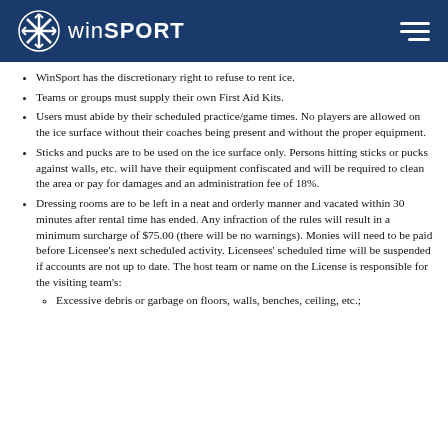[Figure (logo): WinSport logo with snowflake icon on dark blue header bar]
WinSport has the discretionary right to refuse to rent ice.
Teams or groups must supply their own First Aid Kits.
Users must abide by their scheduled practice/game times. No players are allowed on the ice surface without their coaches being present and without the proper equipment.
Sticks and pucks are to be used on the ice surface only. Persons hitting sticks or pucks against walls, etc. will have their equipment confiscated and will be required to clean the area or pay for damages and an administration fee of 18%.
Dressing rooms are to be left in a neat and orderly manner and vacated within 30 minutes after rental time has ended. Any infraction of the rules will result in a minimum surcharge of $75.00 (there will be no warnings). Monies will need to be paid before Licensee's next scheduled activity. Licensees' scheduled time will be suspended if accounts are not up to date. The host team or name on the License is responsible for the visiting team's:
Excessive debris or garbage on floors, walls, benches, ceiling, etc.;